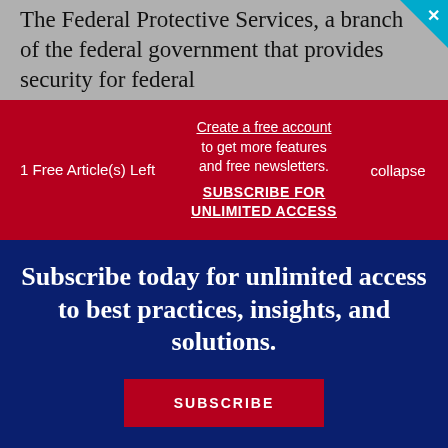The Federal Protective Services, a branch of the federal government that provides security for federal
1 Free Article(s) Left
Create a free account to get more features and free newsletters.
SUBSCRIBE FOR UNLIMITED ACCESS
collapse
Subscribe today for unlimited access to best practices, insights, and solutions.
SUBSCRIBE